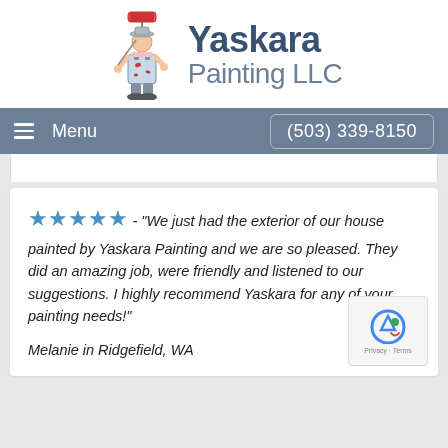[Figure (logo): Yaskara Painting LLC logo with cartoon painter character holding a paint roller, wearing overalls with paint splatters, alongside company name text]
Yaskara Painting LLC
Menu  |  (503) 339-8150
★★★★★ - "We just had the exterior of our house painted by Yaskara Painting and we are so pleased. They did an amazing job, were friendly and listened to our suggestions. I highly recommend Yaskara for any of your painting needs!" Melanie in Ridgefield, WA